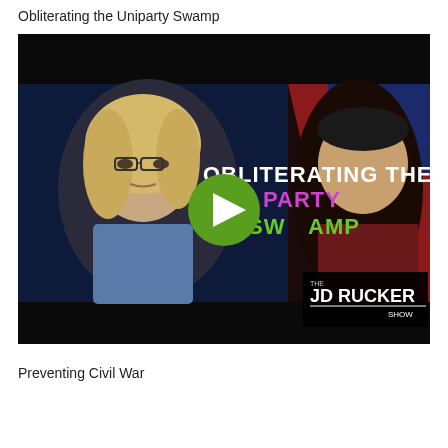Obliterating the Uniparty Swamp
[Figure (screenshot): Video thumbnail for 'Obliterating the Uniparty Swamp' on The JD Rucker Show. Shows a woman with blonde hair and glasses on the left, a man on the right, with text overlay reading 'OBLITERATING THE UNIPARTY SWAMP' in white, purple and green. A green circular play button is centered on the image.]
Preventing Civil War